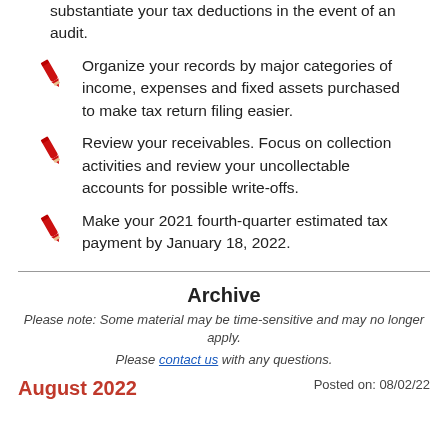substantiate your tax deductions in the event of an audit.
Organize your records by major categories of income, expenses and fixed assets purchased to make tax return filing easier.
Review your receivables. Focus on collection activities and review your uncollectable accounts for possible write-offs.
Make your 2021 fourth-quarter estimated tax payment by January 18, 2022.
Archive
Please note: Some material may be time-sensitive and may no longer apply.
Please contact us with any questions.
August 2022
Posted on: 08/02/22